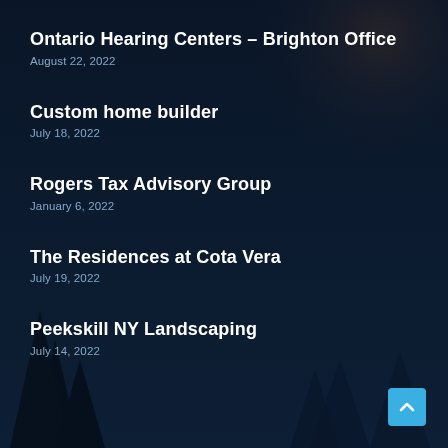Ontario Hearing Centers – Brighton Office
August 22, 2022
Custom home builder
July 18, 2022
Rogers Tax Advisory Group
January 6, 2022
The Residences at Cota Vera
July 19, 2022
Peekskill NY Landscaping
July 14, 2022